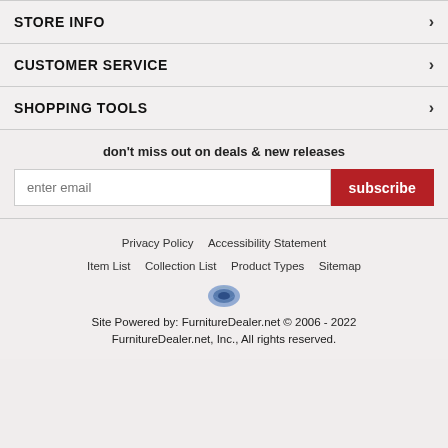STORE INFO
CUSTOMER SERVICE
SHOPPING TOOLS
don't miss out on deals & new releases
enter email | subscribe
Privacy Policy  Accessibility Statement  Item List  Collection List  Product Types  Sitemap
Site Powered by: FurnitureDealer.net © 2006 - 2022 FurnitureDealer.net, Inc., All rights reserved.